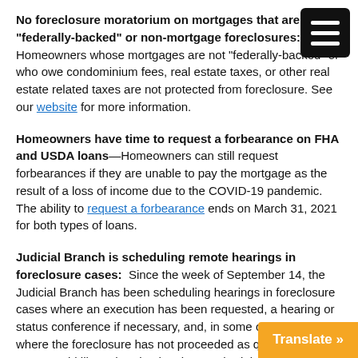No foreclosure moratorium on mortgages that are not "federally-backed" or non-mortgage foreclosures: Homeowners whose mortgages are not "federally-backed" or who owe condominium fees, real estate taxes, or other real estate related taxes are not protected from foreclosure. See our website for more information.
Homeowners have time to request a forbearance on FHA and USDA loans—Homeowners can still request forbearances if they are unable to pay the mortgage as the result of a loss of income due to the COVID-19 pandemic. The ability to request a forbearance ends on March 31, 2021 for both types of loans.
Judicial Branch is scheduling remote hearings in foreclosure cases: Since the week of September 14, the Judicial Branch has been scheduling hearings in foreclosure cases where an execution has been requested, a hearing or status conference if necessary, and, in some circumstances, where the foreclosure has not proceeded as quickly as the court would like, a hearing has been scheduled, the homeowner is suppo